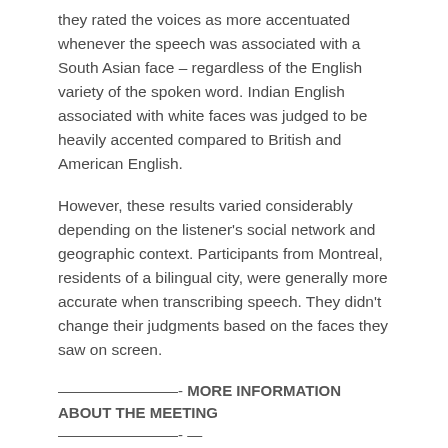they rated the voices as more accentuated whenever the speech was associated with a South Asian face – regardless of the English variety of the spoken word. Indian English associated with white faces was judged to be heavily accented compared to British and American English.
However, these results varied considerably depending on the listener's social network and geographic context. Participants from Montreal, residents of a bilingual city, were generally more accurate when transcribing speech. They didn't change their judgments based on the faces they saw on screen.
————————- MORE INFORMATION ABOUT THE MEETING ————————- —
USEFUL LINKS
Main meeting site: https://acousticalsociety.org/asa-meetings/